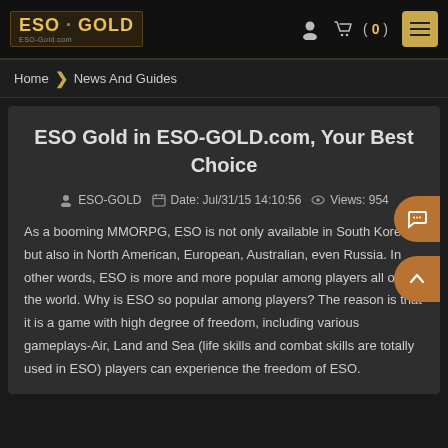ESO-GOLD ESO-Gold.com
Home ❫ News And Guides
ESO Gold in ESO-GOLD.com, Your Best Choice
ESO-GOLD   Date: Jul/31/15 14:10:56   Views: 954
As a booming MMORPG, ESO is not only available in South Korea but also in North American, European, Australian, even Russia. In other words, ESO is more and more popular among players all over the world. Why is ESO so popular among players? The reason is that it is a game with high degree of freedom, including various gameplays-Air, Land and Sea (life skills and combat skills are totally used in ESO) players can experience the freedom of ESO.